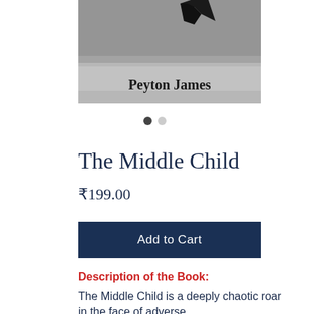[Figure (photo): Bottom portion of a book cover showing author name 'Peyton James' in bold serif font on a grayscale textured background with a dark silhouette at top]
[Figure (infographic): Two carousel indicator dots — one dark (active) and one light gray (inactive)]
The Middle Child
₹199.00
Add to Cart
Description of the Book:
The Middle Child is a deeply chaotic roar in the face of adverse